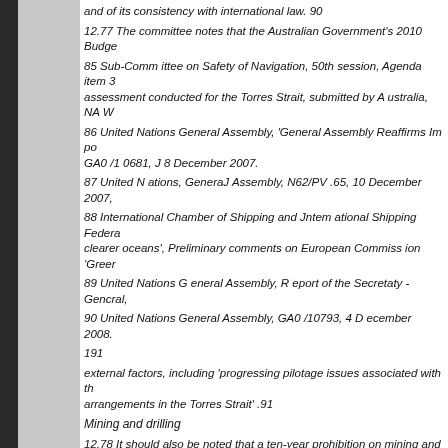and of its consistency with international law. 90
12.77 The committee notes that the Australian Government's 2010 Budge...
85 Sub-Comm ittee on Safety of Navigation, 50th session, Agenda item 3... assessment conducted for the Torres Strait, submitted by A ustralia, NA W...
86 United Nations General Assembly, 'General Assembly Reaffirms Im po... GA0 /1 0681, J 8 December 2007.
87 United N ations, GeneraJ Assembly, N62/PV .65, 10 December 2007,...
88 International Chamber of Shipping and Jntem ational Shipping Federa... clearer oceans', Preliminary comments on European Commiss ion 'Greer...
89 United Nations G eneral Assembly, R eport of the Secretaty -Gencral,...
90 United Nations General Assembly, GA0 /10793, 4 D ecember 2008.
191
external factors, including 'progressing pilotage issues associated with th... arrangements in the Torres Strait' .91
Mining and drilling
12.78 It should also be noted that a ten-year prohibition on mining and dr... number of occasions by an exchange of letters between the Australian ar...
indefinitely.
12.79 The TSRA supported this move 'as a positive and significant outco... consequently, the way of life of its traditional seafaring people'. 92
The committee
notes, however, that tradit ional owners or inhabitants had 'no pdor and in... Strait mining moratorium... During the committee's open forum on Thu...